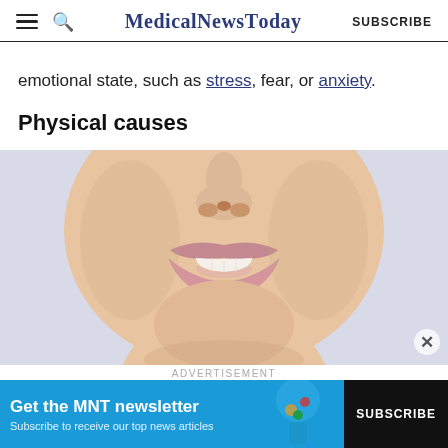MedicalNewsToday SUBSCRIBE
emotional state, such as stress, fear, or anxiety.
Physical causes
[Figure (photo): Close-up photo of the lower half of a person's face showing nose, lips slightly parted, and chin against a light background]
ADVERTISEMENT
[Figure (infographic): MNT newsletter subscription banner: 'Get the MNT newsletter. Subscribe to receive our top news articles.' with a SUBSCRIBE button and a graphic of a glass with colorful spheres.]